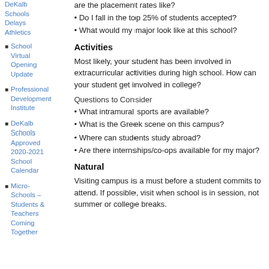DeKalb Schools Delays Athletics
School Virtual Opening Update
Professional Development Institute
DeKalb Schools Approved 2020-2021 School Calendar
Micro-Schools – Students & Teachers Coming Together
are the placement rates like?
• Do I fall in the top 25% of students accepted?
• What would my major look like at this school?
Activities
Most likely, your student has been involved in extracurricular activities during high school. How can your student get involved in college?
Questions to Consider
• What intramural sports are available?
• What is the Greek scene on this campus?
• Where can students study abroad?
• Are there internships/co-ops available for my major?
Natural
Visiting campus is a must before a student commits to attend. If possible, visit when school is in session, not summer or college breaks.